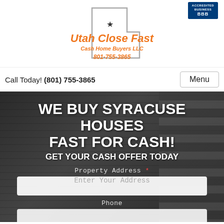[Figure (logo): Utah Close Fast Cash Home Buyers LLC logo with Utah state outline, star, and BBB Accredited Business badge]
Call Today! (801) 755-3865
Menu
WE BUY SYRACUSE HOUSES FAST FOR CASH!
GET YOUR CASH OFFER TODAY
Property Address *
Enter Your Address
Phone